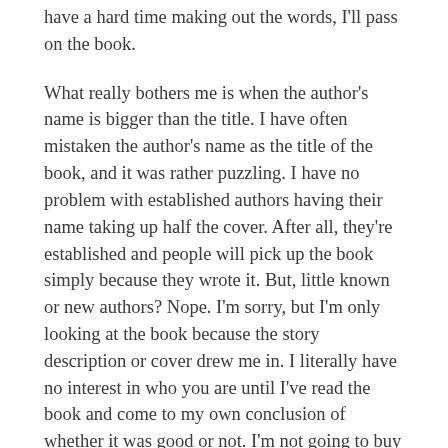have a hard time making out the words, I'll pass on the book.
What really bothers me is when the author's name is bigger than the title. I have often mistaken the author's name as the title of the book, and it was rather puzzling. I have no problem with established authors having their name taking up half the cover. After all, they're established and people will pick up the book simply because they wrote it. But, little known or new authors? Nope. I'm sorry, but I'm only looking at the book because the story description or cover drew me in. I literally have no interest in who you are until I've read the book and come to my own conclusion of whether it was good or not. I'm not going to buy